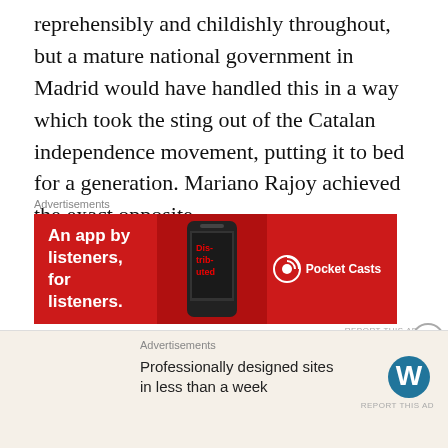reprehensibly and childishly throughout, but a mature national government in Madrid would have handled this in a way which took the sting out of the Catalan independence movement, putting it to bed for a generation. Mariano Rajoy achieved the exact opposite.
[Figure (screenshot): Advertisement banner for Pocket Casts: red background with text 'An app by listeners, for listeners.' and Pocket Casts logo on right side with stylized phone graphic]
The decision of former Catalan president Carles Puigdemont to proceed with a declaration of independence, as ratified by the Catalan parliament, was opportunistic, antidemocratic and immature. Yes, the
[Figure (screenshot): Advertisement banner for WordPress: light beige background with text 'Professionally designed sites in less than a week' and WordPress logo]